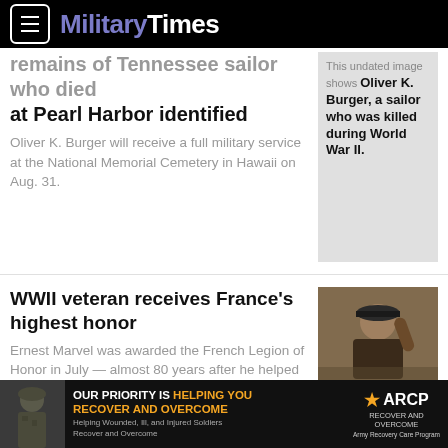MilitaryTimes
remains of Tennessee sailor who died at Pearl Harbor identified
Oliver K. Burger will receive a full military service at the National Memorial Cemetery in Hawaii on Aug. 31.
[Figure (photo): This undated image shows Oliver K. Burger, a sailor who was killed during World War II.]
WWII veteran receives France's highest honor
Ernest Marvel was awarded the French Legion of Honor in July — almost 80 years after he helped liberate the country from t…
[Figure (photo): Elderly WWII veteran in a dark shirt and cap raising his hand]
Two Navy ships transit Taiwan Strait, first since Pelosi visit
[Figure (photo): Navy ship at sea]
[Figure (photo): ARCP advertisement banner with soldier image. Text: OUR PRIORITY IS HELPING YOU RECOVER AND OVERCOME. ARCP Recover and Overcome - Army Recovery Care Program.]